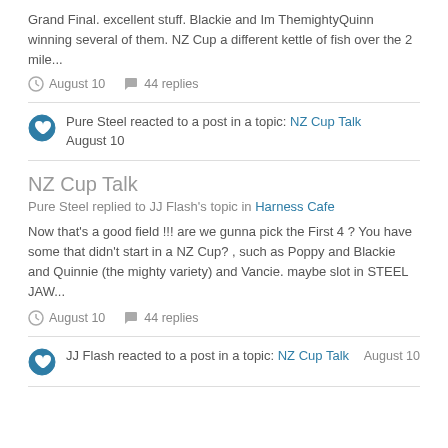Grand Final. excellent stuff. Blackie and Im ThemightyQuinn winning several of them. NZ Cup a different kettle of fish over the 2 mile...
August 10   44 replies
Pure Steel reacted to a post in a topic: NZ Cup Talk August 10
NZ Cup Talk
Pure Steel replied to JJ Flash's topic in Harness Cafe
Now that's a good field !!! are we gunna pick the First 4 ? You have some that didn't start in a NZ Cup? , such as Poppy and Blackie and Quinnie (the mighty variety) and Vancie. maybe slot in STEEL JAW...
August 10   44 replies
JJ Flash reacted to a post in a topic: NZ Cup Talk   August 10